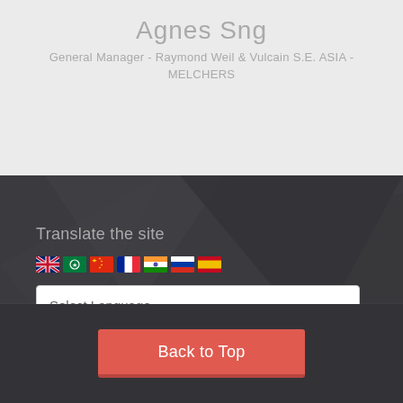Agnes Sng
General Manager - Raymond Weil & Vulcain S.E. ASIA - MELCHERS
Translate the site
[Figure (other): Row of country flag icons: UK, green circle, China, France, India, Russia, Spain]
Select Language
Back to Top